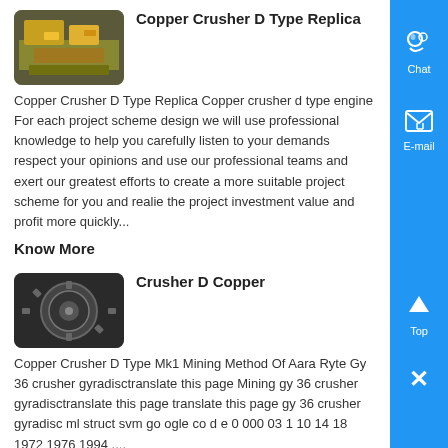[Figure (photo): Yellow industrial copper crusher machine]
Copper Crusher D Type Replica
Copper Crusher D Type Replica Copper crusher d type engine For each project scheme design we will use professional knowledge to help you carefully listen to your demands respect your opinions and use our professional teams and exert our greatest efforts to create a more suitable project scheme for you and realie the project investment value and profit more quickly...
Know More
[Figure (photo): Industrial crusher mechanical component close-up]
Crusher D Copper
Copper Crusher D Type Mk1 Mining Method Of Aara Ryte Gy 36 crusher gyradisctranslate this page Mining gy 36 crusher gyradisctranslate this page translate this page gy 36 crusher gyradisc ml struct svm go ogle co d e 0 000 03 1 10 14 18 1972 1976 1994 ,...
Know More
[Figure (photo): Industrial equipment partial view]
copper crusher d type